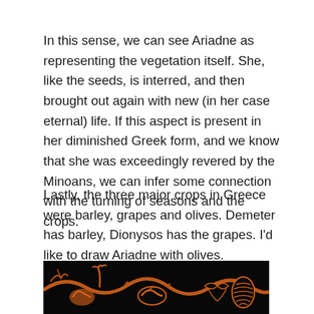In this sense, we can see Ariadne as representing the vegetation itself. She, like the seeds, is interred, and then brought out again with new (in her case eternal) life. If this aspect is present in her diminished Greek form, and we know that she was exceedingly revered by the Minoans, we can infer some connection with the turning of seasons and the crops.
Lastly, the three major crops in Greece were barley, grapes and olives. Demeter has barley, Dionysos has the grapes. I'd like to draw Ariadne with olives.
[Figure (photo): Ancient Greek red-figure pottery detail on black background showing intertwined organic vine or plant forms with orange/terracotta figures and decorative elements including what appears to be a pine cone or grape cluster on the right side.]